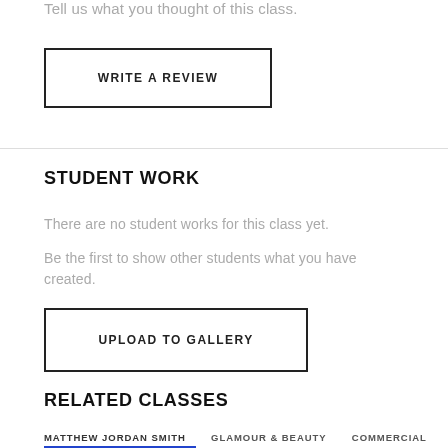Tell us what you thought of this class.
WRITE A REVIEW
STUDENT WORK
There are no student works for this class yet.
Be the first to show other students what you have created.
UPLOAD TO GALLERY
RELATED CLASSES
MATTHEW JORDAN SMITH   GLAMOUR & BEAUTY   COMMERCIAL   DIGITAL